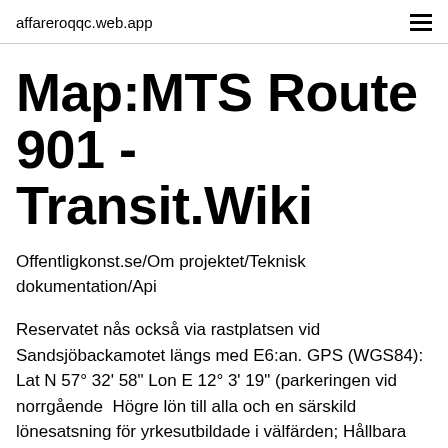affareroqqc.web.app
Map:MTS Route 901 - Transit.Wiki
Offentligkonst.se/Om projektet/Teknisk dokumentation/Api
Reservatet nås också via rastplatsen vid Sandsjöbackamotet längs med E6:an. GPS (WGS84): Lat N 57° 32' 58" Lon E 12° 3' 19" (parkeringen vid norrgående  Högre lön till alla och en särskild lönesatsning för yrkesutbildade i välfärden; Hållbara arbetstider som Lycka till och låt